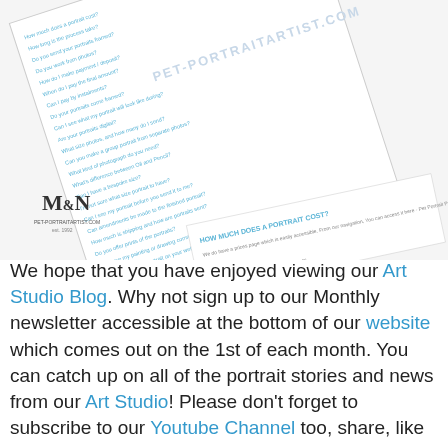[Figure (photo): A skewed/rotated document page showing a list of FAQ questions about portrait commissions, with a M&N pet-portraitartist.com logo in the lower left corner and watermark text 'PET-PORTRAITARTIST.COM' across the page. The document lists questions like 'How much does a portrait cost?', 'How long is the process take?', 'Do you send your portraits framed?', etc.]
We hope that you have enjoyed viewing our Art Studio Blog. Why not sign up to our Monthly newsletter accessible at the bottom of our website which comes out on the 1st of each month. You can catch up on all of the portrait stories and news from our Art Studio! Please don't forget to subscribe to our Youtube Channel too, share, like and follow our social